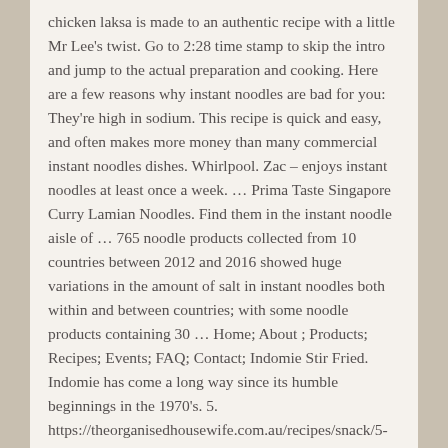chicken laksa is made to an authentic recipe with a little Mr Lee's twist. Go to 2:28 time stamp to skip the intro and jump to the actual preparation and cooking. Here are a few reasons why instant noodles are bad for you: They're high in sodium. This recipe is quick and easy, and often makes more money than many commercial instant noodles dishes. Whirlpool. Zac – enjoys instant noodles at least once a week. … Prima Taste Singapore Curry Lamian Noodles. Find them in the instant noodle aisle of … 765 noodle products collected from 10 countries between 2012 and 2016 showed huge variations in the amount of salt in instant noodles both within and between countries; with some noodle products containing 30 … Home; About ; Products; Recipes; Events; FAQ; Contact; Indomie Stir Fried. Indomie has come a long way since its humble beginnings in the 1970's. 5. https://theorganisedhousewife.com.au/recipes/snack/5-quick-ways-to- 50 g, … Noodles are well coated in flavour and we reckon if you added a ramen egg, seaweed and some pork slices, you could get away with cooking it on date